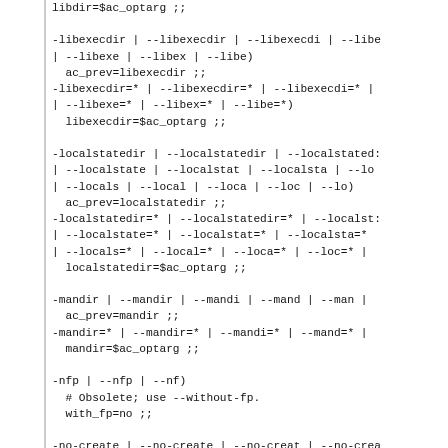libdir=$ac_optarg ;;

-libexecdir | --libexecdir | --libexecdi | --libe
| --libexe | --libex | --libe)
  ac_prev=libexecdir ;;
-libexecdir=* | --libexecdir=* | --libexecdi=* |
| --libexe=* | --libex=* | --libe=*)
  libexecdir=$ac_optarg ;;

-localstatedir | --localstatedir | --localstated:
| --localstate | --localstat | --localsta | --lo
| --locals | --local | --loca | --loc | --lo)
  ac_prev=localstatedir ;;
-localstatedir=* | --localstatedir=* | --localst:
| --localstate=* | --localstat=* | --localsta=*
| --locals=* | --local=* | --loca=* | --loc=* |
  localstatedir=$ac_optarg ;;

-mandir | --mandir | --mandi | --mand | --man |
  ac_prev=mandir ;;
-mandir=* | --mandir=* | --mandi=* | --mand=* |
  mandir=$ac_optarg ;;

-nfp | --nfp | --nf)
  # Obsolete; use --without-fp.
  with_fp=no ;;

-no-create | --no-create | --no-creat | --no-crea
| --no-cr | --no-c | -n)
  no_create=yes ;;

-no-recursion | --no-recursion | --no-recursio |
| --no-recurs | --no-recur | --no-recu | --no-re